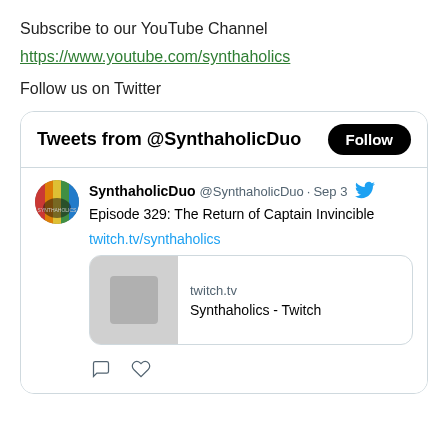Subscribe to our YouTube Channel
https://www.youtube.com/synthaholics
Follow us on Twitter
[Figure (screenshot): Twitter widget showing tweets from @SynthaholicDuo with a Follow button. Contains a tweet from SynthaholicDuo dated Sep 3 saying 'Episode 329: The Return of Captain Invincible' with link twitch.tv/synthaholics, and a link preview card showing 'twitch.tv / Synthaholics - Twitch'.]